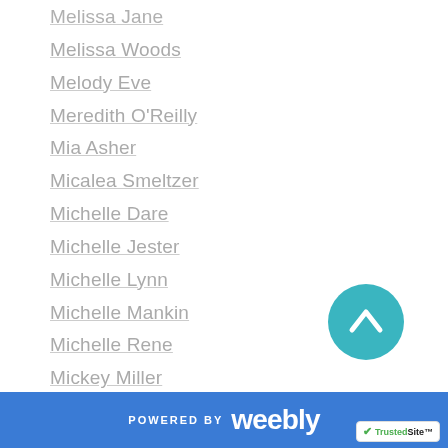Melissa Jane
Melissa Woods
Melody Eve
Meredith O'Reilly
Mia Asher
Micalea Smeltzer
Michelle Dare
Michelle Jester
Michelle Lynn
Michelle Mankin
Michelle Rene
Mickey Miller
Mignon Mykel
Mika Lane
Mikel J Wilson
Milana Jacks
Mila Raphael
POWERED BY weebly